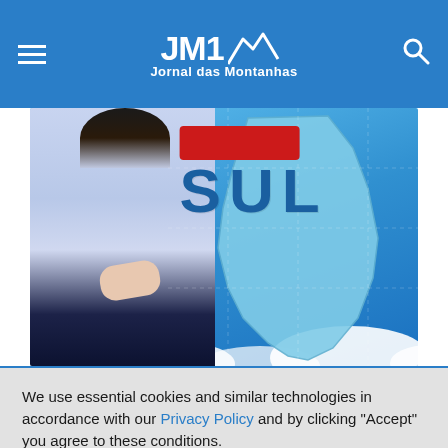JM1 Jornal das Montanhas
[Figure (photo): Weather broadcast scene: woman presenter in light blue blouse on left, map of South America with 'SUL' text overlay on right, blue sky with clouds background]
We use essential cookies and similar technologies in accordance with our Privacy Policy and by clicking "Accept" you agree to these conditions.
TO ACCEPT